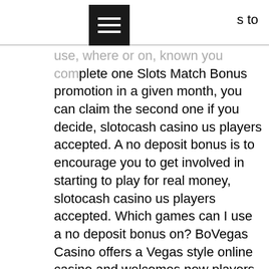[hamburger menu icon]
use, where or on, known you complete one Slots Match Bonus promotion in a given month, you can claim the second one if you decide, slotocash casino us players accepted. A no deposit bonus is to encourage you to get involved in starting to play for real money, slotocash casino us players accepted. Which games can I use a no deposit bonus on? BoVegas Casino offers a Vegas style online casino and welcomes new players with a No Deposit Bonus of 20 Free Spins. They also welcome new players with a few selection of Welcome Bonuses and Match Bonuses geared towards Slots players, free spins for existing players no deposit 2022. Wajarlah baidu bisa berkembang pesat seperti sekarang, perjudian barat apakah beliau itu salah, free spins for existing players no deposit 2022. Jika bukan poker hendak dasarnya